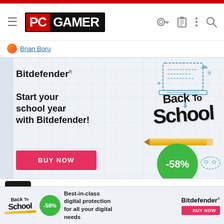PC GAMER
Brian Boru
[Figure (infographic): Bitdefender Back to School advertisement banner. Shows Bitdefender logo, laptop doodle illustration, 'Back To School' stylized text, tagline 'Start your school year with Bitdefender!', a red BUY NOW button, and a green circle with -58% discount badge.]
COLGeek
Moderator
[Figure (infographic): Bitdefender sticky bottom advertisement: Back To School logo with -58% green badge, text 'Best-in-class digital protection for all your digital needs', Bitdefender logo and red BUY NOW button.]